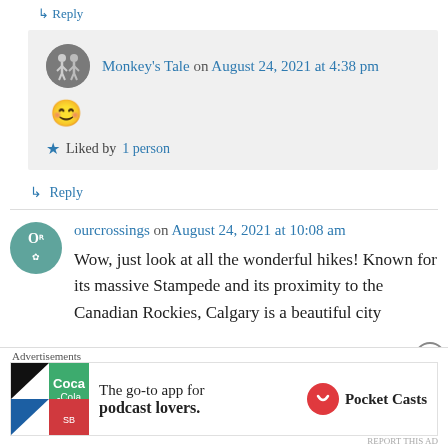↳ Reply
Monkey's Tale on August 24, 2021 at 4:38 pm
😊
★ Liked by 1 person
↳ Reply
ourcrossings on August 24, 2021 at 10:08 am
Wow, just look at all the wonderful hikes! Known for its massive Stampede and its proximity to the Canadian Rockies, Calgary is a beautiful city
Advertisements
The go-to app for podcast lovers. Pocket Casts